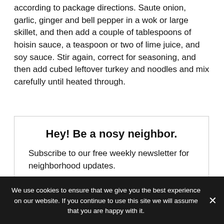according to package directions. Saute onion, garlic, ginger and bell pepper in a wok or large skillet, and then add a couple of tablespoons of hoisin sauce, a teaspoon or two of lime juice, and soy sauce. Stir again, correct for seasoning, and then add cubed leftover turkey and noodles and mix carefully until heated through.
Hey! Be a nosy neighbor.
Subscribe to our free weekly newsletter for neighborhood updates.
We use cookies to ensure that we give you the best experience on our website. If you continue to use this site we will assume that you are happy with it.